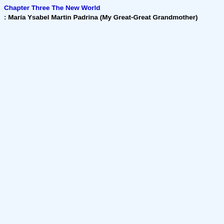Chapter Three The New World
: María Ysabel Martin Padrina (My Great-Great Grandmother)